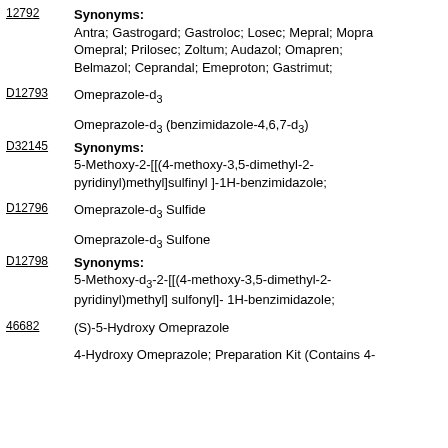Synonyms: Antra; Gastrogard; Gastroloc; Losec; Mepral; Mopra Omepral; Prilosec; Zoltum; Audazol; Omapren; Belmazol; Ceprandal; Emeproton; Gastrimut;
D12793 Omeprazole-d3
Omeprazole-d3 (benzimidazole-4,6,7-d3)
D32145 Synonyms: 5-Methoxy-2-[[(4-methoxy-3,5-dimethyl-2-pyridinyl)methyl]sulfinyl ]-1H-benzimidazole;
D12796 Omeprazole-d3 Sulfide
Omeprazole-d3 Sulfone
D12798 Synonyms: 5-Methoxy-d3-2-[[(4-methoxy-3,5-dimethyl-2-pyridinyl)methyl] sulfonyl]- 1H-benzimidazole;
46682 (S)-5-Hydroxy Omeprazole
4-Hydroxy Omeprazole; Preparation Kit (Contains 4-